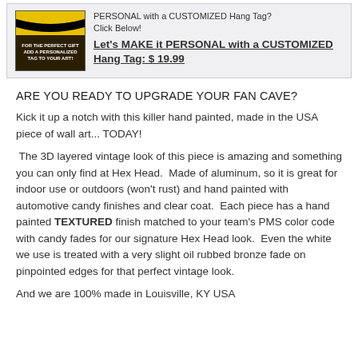[Figure (illustration): Promotional banner with product image on left and customized hang tag offer text on right, on grey background]
ARE YOU READY TO UPGRADE YOUR FAN CAVE?
Kick it up a notch with this killer hand painted, made in the USA piece of wall art... TODAY!
The 3D layered vintage look of this piece is amazing and something you can only find at Hex Head.  Made of aluminum, so it is great for indoor use or outdoors (won't rust) and hand painted with automotive candy finishes and clear coat.  Each piece has a hand painted TEXTURED finish matched to your team's PMS color code with candy fades for our signature Hex Head look.  Even the white we use is treated with a very slight oil rubbed bronze fade on pinpointed edges for that perfect vintage look.
And we are 100% made in Louisville, KY USA